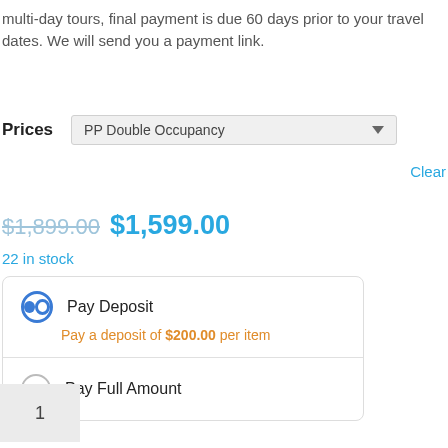multi-day tours, final payment is due 60 days prior to your travel dates. We will send you a payment link.
Prices
PP Double Occupancy (dropdown)
Clear
$1,899.00 $1,599.00
22 in stock
Pay Deposit - Pay a deposit of $200.00 per item
Pay Full Amount
1